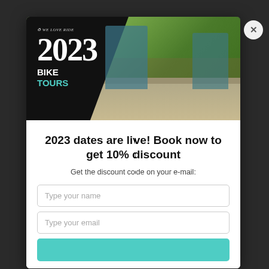[Figure (photo): Modal popup for We Love Ride 2023 Bike Tours. Hero image showing two cyclists in teal jerseys on a road with green hillside background. Left portion has black diagonal overlay with logo, '2023', 'BIKE' in white and 'TOURS' in teal.]
2023 dates are live! Book now to get 10% discount
Get the discount code on your e-mail:
Type your name
Type your email